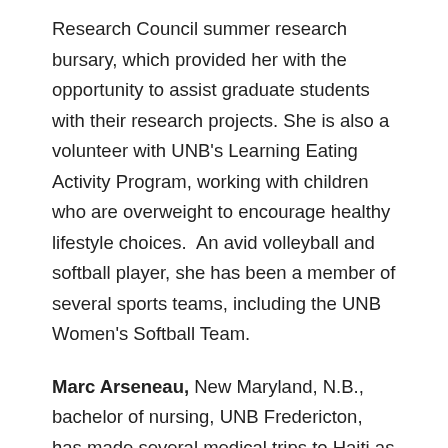Research Council summer research bursary, which provided her with the opportunity to assist graduate students with their research projects. She is also a volunteer with UNB's Learning Eating Activity Program, working with children who are overweight to encourage healthy lifestyle choices.  An avid volleyball and softball player, she has been a member of several sports teams, including the UNB Women's Softball Team.
Marc Arseneau, New Maryland, N.B., bachelor of nursing, UNB Fredericton, has made several medical trips to Haiti as a volunteer with Healing